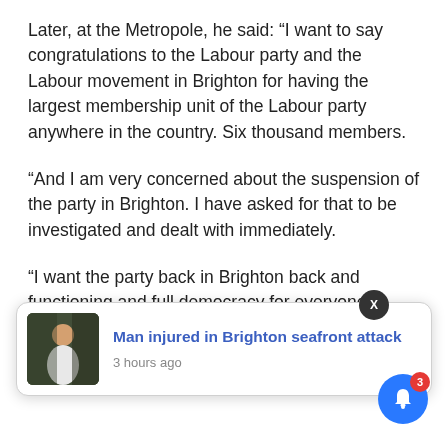Later, at the Metropole, he said: “I want to say congratulations to the Labour party and the Labour movement in Brighton for having the largest membership unit of the Labour party anywhere in the country. Six thousand members.
“And I am very concerned about the suspension of the party in Brighton. I have asked for that to be investigated and dealt with immediately.
“I want the party back in Brighton back and functioning and full democracy for everyone in Brighton as soon as possible.
[Figure (screenshot): A notification popup card showing a thumbnail image of a man, the headline 'Man injured in Brighton seafront attack' in blue text, and '3 hours ago' in grey text. A dark circular X close button appears at top right of the card. Partially visible text to the right reads 'mbers doing' and 'noon with'. A blue circular bell notification button with a red badge showing '3' appears at the bottom right corner.]
...of the Labour party members doing ... afternoon with